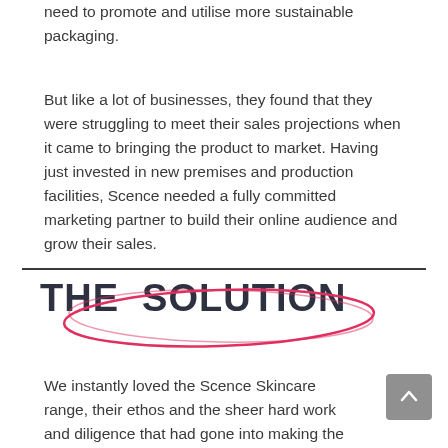need to promote and utilise more sustainable packaging.
But like a lot of businesses, they found that they were struggling to meet their sales projections when it came to bringing the product to market. Having just invested in new premises and production facilities, Scence needed a fully committed marketing partner to build their online audience and grow their sales.
THE SOLUTION
We instantly loved the Scence Skincare range, their ethos and the sheer hard work and diligence that had gone into making the